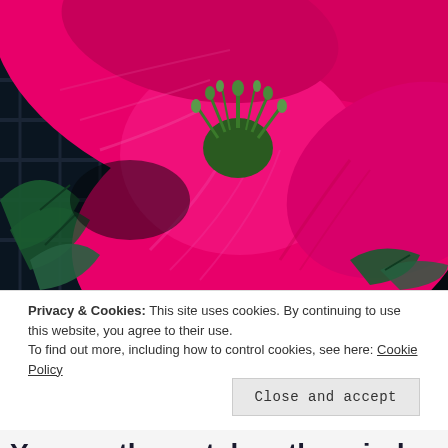[Figure (photo): Close-up macro photograph of a bright magenta/hot pink flower (appears to be a hibiscus or similar bloom) with green stamens/pistils visible in the center. The background shows dark green foliage and what appears to be a dark metal grid/trellis structure. The image is high-contrast and vivid.]
Privacy & Cookies: This site uses cookies. By continuing to use this website, you agree to their use.
To find out more, including how to control cookies, see here: Cookie Policy
Close and accept
You are the watcher, the mind